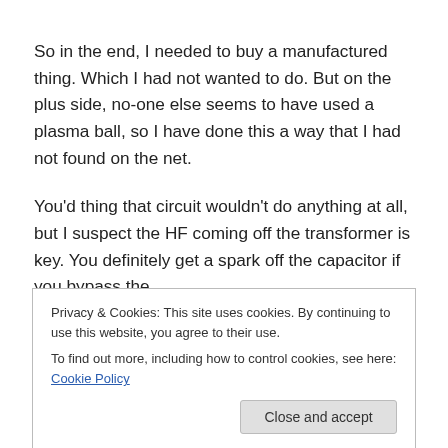So in the end, I needed to buy a manufactured thing. Which I had not wanted to do. But on the plus side, no-one else seems to have used a plasma ball, so I have done this a way that I had not found on the net.
You’d thing that circuit wouldn’t do anything at all, but I suspect the HF coming off the transformer is key. You definitely get a spark off the capacitor if you bypass the
Privacy & Cookies: This site uses cookies. By continuing to use this website, you agree to their use.
To find out more, including how to control cookies, see here: Cookie Policy
connected to something leaking at a comparable